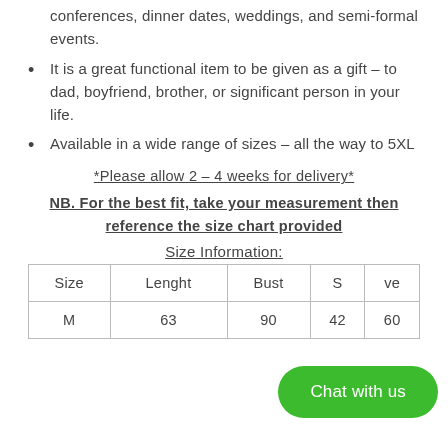conferences, dinner dates, weddings, and semi-formal events.
It is a great functional item to be given as a gift – to dad, boyfriend, brother, or significant person in your life.
Available in a wide range of sizes – all the way to 5XL
*Please allow 2 – 4 weeks for delivery*
NB. For the best fit, take your measurement then reference the size chart provided
Size Information:
| Size | Lenght | Bust | S[houlder] | [Slee]ve |
| --- | --- | --- | --- | --- |
| M | 63 | 90 | 42 | 60 |